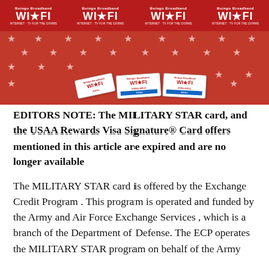[Figure (photo): Photo of Boingo Broadband WI-FI banner and promotional cards on a red background with white stars. Banner repeats 'Boingo Broadband WI-FI INTERNET · TV FOR THE DORMS' four times across the top. Cards on the red star-patterned surface show 'AVAILABLE NOW!' text.]
EDITORS NOTE: The MILITARY STAR card, and the USAA Rewards Visa Signature® Card offers mentioned in this article are expired and are no longer available
The MILITARY STAR card is offered by the Exchange Credit Program . This program is operated and funded by the Army and Air Force Exchange Services , which is a branch of the Department of Defense. The ECP operates the MILITARY STAR program on behalf of the Army